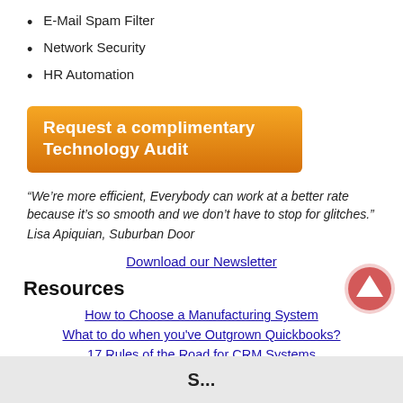E-Mail Spam Filter
Network Security
HR Automation
[Figure (other): Orange gradient banner with white bold text reading 'Request a complimentary Technology Audit']
“We’re more efficient, Everybody can work at a better rate because it’s so smooth and we don’t have to stop for glitches.” Lisa Apiquian, Suburban Door
Download our Newsletter
Resources
How to Choose a Manufacturing System
What to do when you've Outgrown Quickbooks?
17 Rules of the Road for CRM Systems
S...